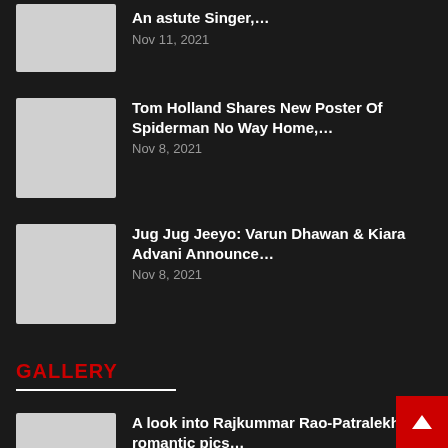An astute Singer,… Nov 11, 2021
Tom Holland Shares New Poster Of Spiderman No Way Home,… Nov 8, 2021
Jug Jug Jeeyo: Varun Dhawan & Kiara Advani Announce… Nov 8, 2021
GALLERY
A look into Rajkummar Rao-Patralekhaa's romantic pics… Oct 31, 2021
Bigg Boss 15: 7 Times Karan Kundrra Pro… His Love For… Oct 19, 2021